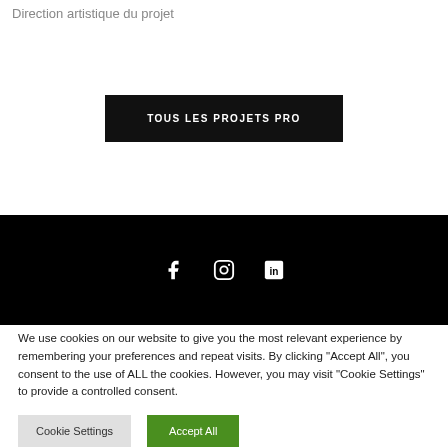Direction artistique du projet
TOUS LES PROJETS PRO
[Figure (other): Black footer bar with Facebook, Instagram, and LinkedIn social media icons in white]
We use cookies on our website to give you the most relevant experience by remembering your preferences and repeat visits. By clicking "Accept All", you consent to the use of ALL the cookies. However, you may visit "Cookie Settings" to provide a controlled consent.
Cookie Settings
Accept All